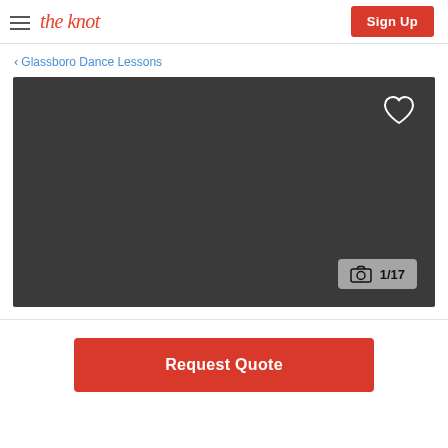the knot | Sign Up
< Glassboro Dance Lessons
[Figure (photo): Dark gray placeholder image area with a heart icon in the top-right corner and a photo counter badge showing camera icon and 1/17 in the bottom-right corner]
Request Quote